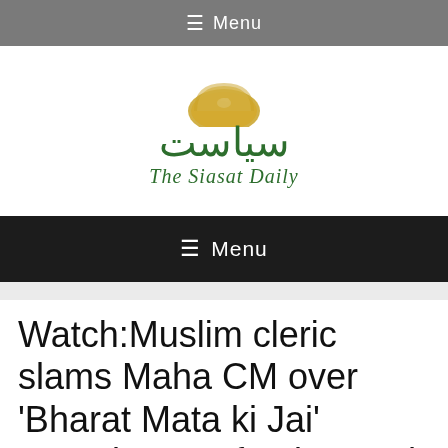☰ Menu
[Figure (logo): The Siasat Daily logo with golden bird emblem, Urdu calligraphy text, and English subtitle 'The Siasat Daily' in dark green Old English style font]
☰ Menu
Watch:Muslim cleric slams Maha CM over 'Bharat Mata ki Jai' remark, says forcing such